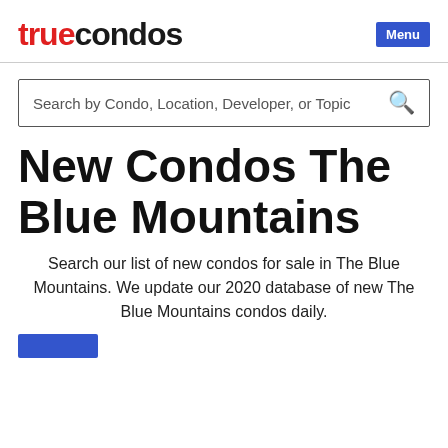truecondos Menu
Search by Condo, Location, Developer, or Topic
New Condos The Blue Mountains
Search our list of new condos for sale in The Blue Mountains. We update our 2020 database of new The Blue Mountains condos daily.